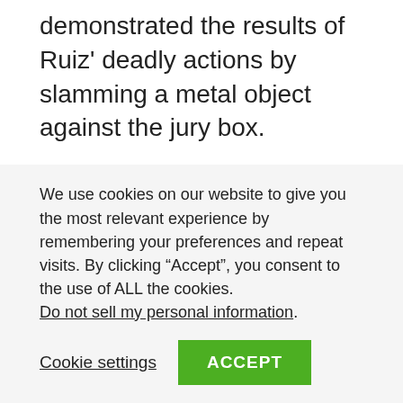demonstrated the results of Ruiz' deadly actions by slamming a metal object against the jury box.
During the trial, defense attorneys had argued that Ruiz shot in self defense. Now, they're hoping the same group will spare their clients' life. “Your ‘no’ vote is the most precious thing on earth for Mr. Ruiz and I ask you not to throw that away,” defense attorney Paul Brauchli said to the jury.
We use cookies on our website to give you the most relevant experience by remembering your preferences and repeat visits. By clicking “Accept”, you consent to the use of ALL the cookies. Do not sell my personal information.